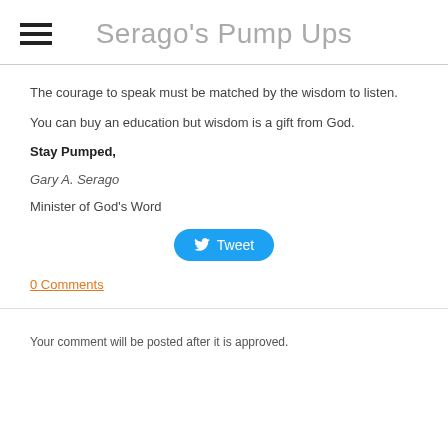Serago's Pump Ups
The courage to speak must be matched by the wisdom to listen.
You can buy an education but wisdom is a gift from God.
Stay Pumped,
Gary A. Serago
Minister of God's Word
[Figure (other): Tweet button with Twitter bird icon]
0 Comments
Your comment will be posted after it is approved.